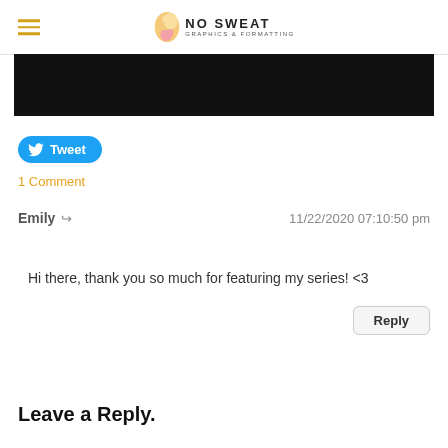No Sweat Graphics & Formatting
[Figure (photo): Black banner image partially visible at top of content area]
Tweet
1 Comment
Emily  11/22/2020 07:10:50 pm
Hi there, thank you so much for featuring my series! <3
Reply
Leave a Reply.